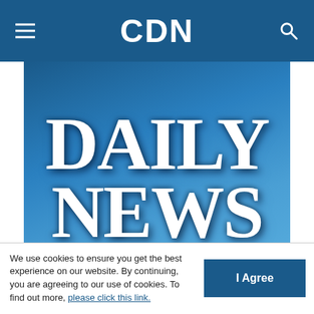CDN
[Figure (photo): CDN Daily News masthead/logo image with large white text reading DAILY NEWS on a blue gradient background]
Tropang Texters hand Barako Bull first defeat in PBA
Calvin D. Cordova   02/13/2015
We use cookies to ensure you get the best experience on our website. By continuing, you are agreeing to our use of cookies. To find out more, please click this link.